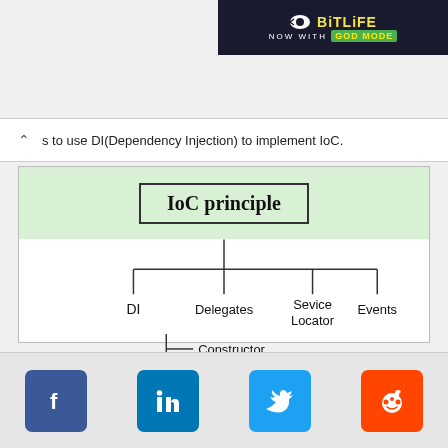[Figure (screenshot): BitLife ad banner: NOW WITH GOD MODE]
s to use DI(Dependency Injection) to implement IoC.
[Figure (organizational-chart): IoC principle hierarchy: IoC principle at top, branching into DI, Delegates, Service Locator, Events. DI branches into Constructor, Methods, Properties.]
[Figure (other): Social media footer icons: Facebook, LinkedIn, Twitter, Reddit]